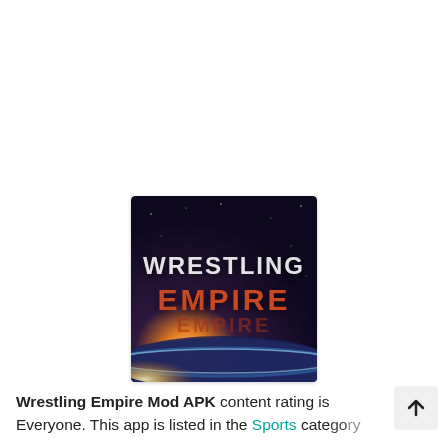[Figure (screenshot): Wrestling Empire app icon showing stylized text 'WRESTLING EMPIRE' against a dark space background with a glowing planet horizon]
Wrestling Empire Mod APK content rating is Everyone. This app is listed in the Sports catego...